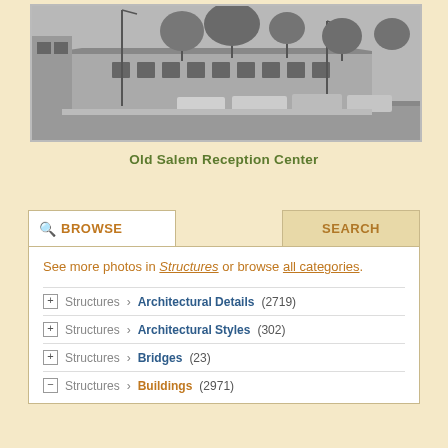[Figure (photo): Black and white photograph of Old Salem Reception Center, a low single-story brick building with a parking lot containing several vintage cars from the 1960s-70s, trees visible in background, street lights visible]
Old Salem Reception Center
BROWSE
SEARCH
See more photos in Structures or browse all categories.
Structures › Architectural Details (2719)
Structures › Architectural Styles (302)
Structures › Bridges (23)
Structures › Buildings (2971)